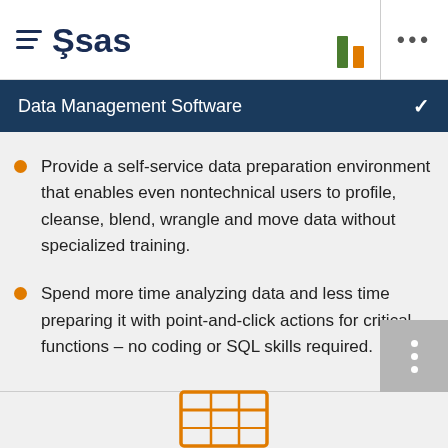≡ Ssas · [bar icons] · ...
Data Management Software
Provide a self-service data preparation environment that enables even nontechnical users to profile, cleanse, blend, wrangle and move data without specialized training.
Spend more time analyzing data and less time preparing it with point-and-click actions for critical functions – no coding or SQL skills required.
[Figure (illustration): Orange table/grid icon at the bottom center of the page]